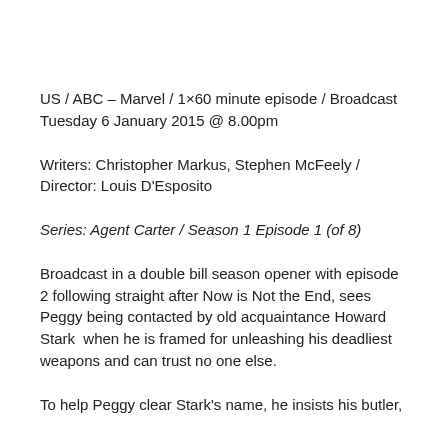US / ABC – Marvel / 1×60 minute episode / Broadcast Tuesday 6 January 2015 @ 8.00pm
Writers: Christopher Markus, Stephen McFeely / Director: Louis D'Esposito
Series: Agent Carter / Season 1 Episode 1 (of 8)
Broadcast in a double bill season opener with episode 2 following straight after Now is Not the End, sees Peggy being contacted by old acquaintance Howard Stark  when he is framed for unleashing his deadliest weapons and can trust no one else.
To help Peggy clear Stark's name, he insists his butler,